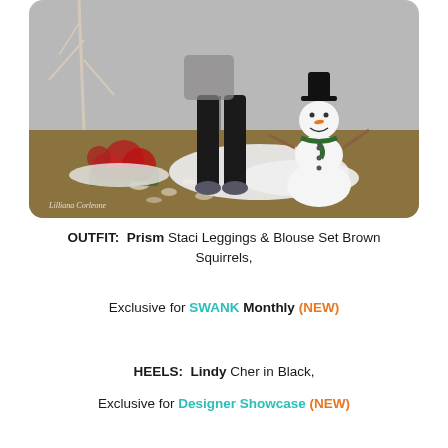[Figure (photo): Second Life avatar standing in a winter outdoor scene wearing black leggings and a gray top, with a snowman, poinsettias, snow on ground, and glowing lights on grass. Watermark 'Lilliana Corleone' in bottom left corner.]
OUTFIT:  Prism Staci Leggings & Blouse Set Brown Squirrels,
Exclusive for SWANK Monthly (NEW)
HEELS:  Lindy Cher in Black,
Exclusive for Designer Showcase (NEW)